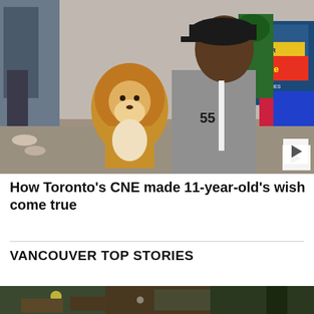[Figure (photo): A smiling young Black boy approximately 11 years old wearing a black baseball cap and grey Nike shirt with a white lanyard, holding up a stuffed lion toy at the CNE (Canadian National Exhibition) fairground. Background shows a Mr. Freeze Jumbo Freezies booth, other fair visitors, and colorful decorations.]
How Toronto's CNE made 11-year-old's wish come true
VANCOUVER TOP STORIES
[Figure (photo): Partial view of a nighttime or dusk outdoor scene, appears to show vehicles or structures with lights, cut off at bottom of page.]